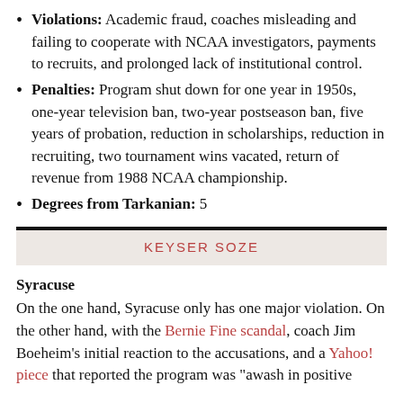Violations: Academic fraud, coaches misleading and failing to cooperate with NCAA investigators, payments to recruits, and prolonged lack of institutional control.
Penalties: Program shut down for one year in 1950s, one-year television ban, two-year postseason ban, five years of probation, reduction in scholarships, reduction in recruiting, two tournament wins vacated, return of revenue from 1988 NCAA championship.
Degrees from Tarkanian: 5
KEYSER SOZE
Syracuse
On the one hand, Syracuse only has one major violation. On the other hand, with the Bernie Fine scandal, coach Jim Boeheim’s initial reaction to the accusations, and a Yahoo! piece that reported the program was “awash in positive